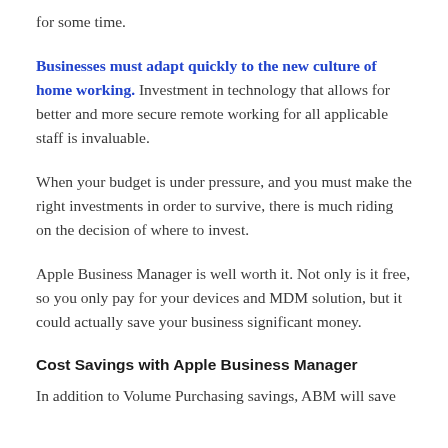for some time.
Businesses must adapt quickly to the new culture of home working. Investment in technology that allows for better and more secure remote working for all applicable staff is invaluable.
When your budget is under pressure, and you must make the right investments in order to survive, there is much riding on the decision of where to invest.
Apple Business Manager is well worth it. Not only is it free, so you only pay for your devices and MDM solution, but it could actually save your business significant money.
Cost Savings with Apple Business Manager
In addition to Volume Purchasing savings, ABM will save